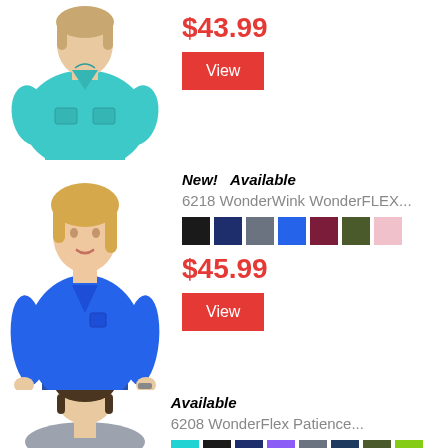$43.99
View
New!   Available
6218 WonderWink WonderFLEX...
[Figure (illustration): Color swatches: black, navy, gray, blue, maroon, olive, pink]
$45.99
View
Available
6208 WonderFlex Patience...
[Figure (illustration): Color swatches: turquoise, black, navy, purple, gray, dark navy, olive, lime green, pink]
[Figure (photo): Woman wearing teal/turquoise scrub top]
[Figure (photo): Woman wearing royal blue scrub top]
[Figure (photo): Woman wearing gray scrub top, partial view]